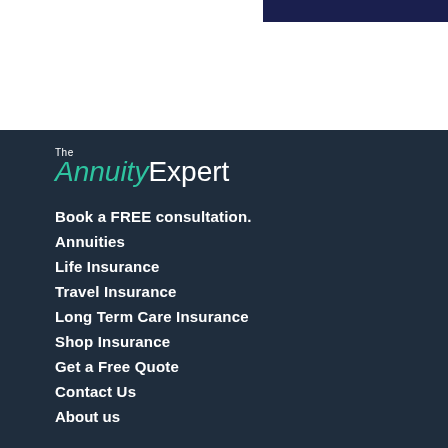[Figure (logo): Navigation button partially visible at top right, dark navy background]
[Figure (logo): The Annuity Expert logo — 'The' in small white text, 'Annuity' in green italic, 'Expert' in white, on dark navy background]
Book a FREE consultation.
Annuities
Life Insurance
Travel Insurance
Long Term Care Insurance
Shop Insurance
Get a Free Quote
Contact Us
About us